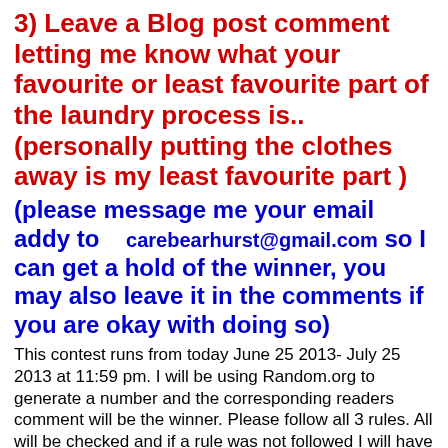3) Leave a Blog post comment letting me know what your favourite or least favourite part of the laundry process is.. (personally putting the clothes away is my least favourite part )
(please message me your email addy to   carebearhurst@gmail.com so I can get a hold of the winner, you may also leave it in the comments if you are okay with doing so)
This contest runs from today June 25 2013- July 25 2013 at 11:59 pm. I will be using Random.org to generate a number and the corresponding readers comment will be the winner. Please follow all 3 rules. All will be checked and if a rule was not followed I will have to chose another #.
Disclaimer
I want to say Thank you to Woolsing for all giving me the...